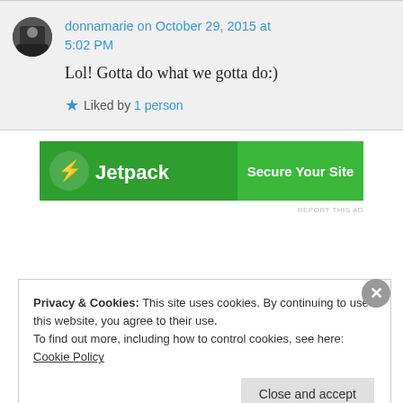donnamarie on October 29, 2015 at 5:02 PM
Lol! Gotta do what we gotta do:)
Liked by 1 person
[Figure (other): Jetpack 'Secure Your Site' advertisement banner, green background with Jetpack logo]
REPORT THIS AD
Privacy & Cookies: This site uses cookies. By continuing to use this website, you agree to their use.
To find out more, including how to control cookies, see here: Cookie Policy
Close and accept